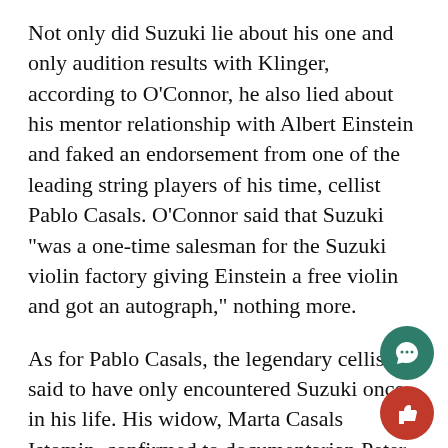Not only did Suzuki lie about his one and only audition results with Klinger, according to O'Connor, he also lied about his mentor relationship with Albert Einstein and faked an endorsement from one of the leading string players of his time, cellist Pablo Casals. O'Connor said that Suzuki "was a one-time salesman for the Suzuki violin factory giving Einstein a free violin and got an autograph," nothing more.
As for Pablo Casals, the legendary cellist is said to have only encountered Suzuki once in his life. His widow, Marta Casals Istomin, confirmed to documentarian Peter Rosen this year that she and her spouse viewed Suzuki and his student presentation during their 1961 trip to Japan and disliked it. According to Suzuki's memoir, Nurtured by Love, "...when Pablo Casals heard a Suzuki recital Tokyo, he rushed to the stage shouting 'bravo,' and